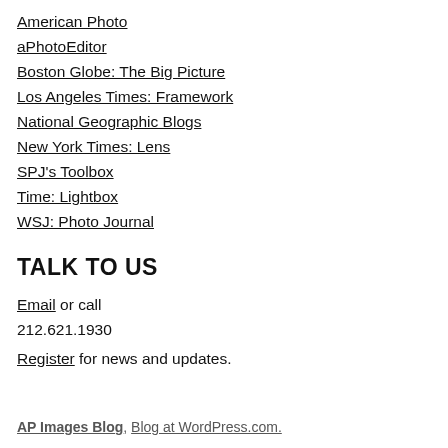American Photo
aPhotoEditor
Boston Globe: The Big Picture
Los Angeles Times: Framework
National Geographic Blogs
New York Times: Lens
SPJ's Toolbox
Time: Lightbox
WSJ: Photo Journal
TALK TO US
Email or call
212.621.1930
Register for news and updates.
AP Images Blog, Blog at WordPress.com.